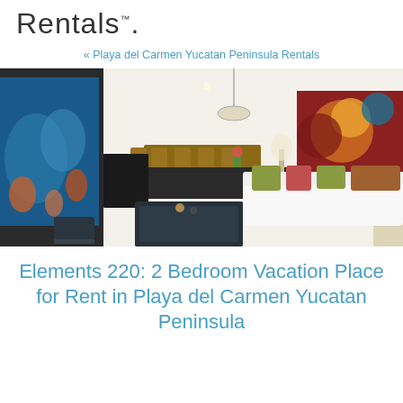Rentals.
« Playa del Carmen Yucatan Peninsula Rentals
[Figure (photo): Interior photo of a modern vacation rental apartment showing a spacious living room with white sofa, colorful throw pillows (green, red), a dark glass coffee table, marble tile floors, a large TV on the left wall, a colorful abstract painting (circles in orange, red, brown, teal) on the right wall, and an open dining area with chairs and a dark sideboard in the background.]
Elements 220: 2 Bedroom Vacation Place for Rent in Playa del Carmen Yucatan Peninsula